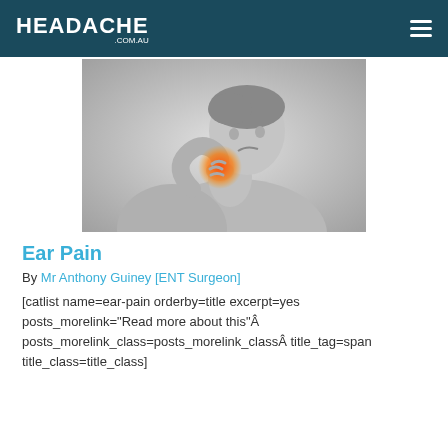HEADACHE .COM.AU
[Figure (photo): Black and white photo of a shirtless man grabbing/scratching the back of his neck/ear area with an orange/red highlight indicating pain at the touch point]
Ear Pain
By Mr Anthony Guiney [ENT Surgeon]
[catlist name=ear-pain orderby=title excerpt=yes posts_morelink="Read more about this"Â posts_morelink_class=posts_morelink_classÂ title_tag=span title_class=title_class]